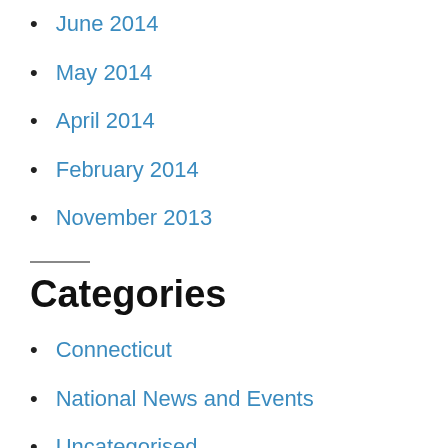June 2014
May 2014
April 2014
February 2014
November 2013
Categories
Connecticut
National News and Events
Uncategorised